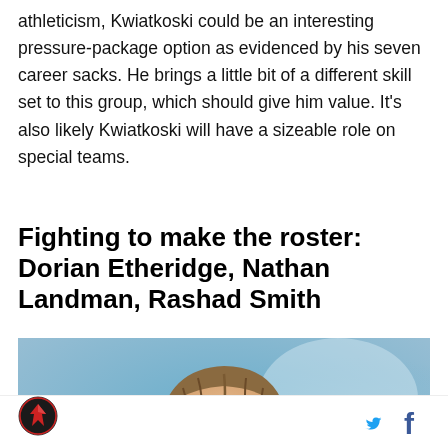athleticism, Kwiatkoski could be an interesting pressure-package option as evidenced by his seven career sacks. He brings a little bit of a different skill set to this group, which should give him value. It's also likely Kwiatkoski will have a sizeable role on special teams.
Fighting to make the roster: Dorian Etheridge, Nathan Landman, Rashad Smith
[Figure (photo): Close-up photo of a football player's face against a blurred blue background]
Logo and social media icons (Twitter, Facebook)